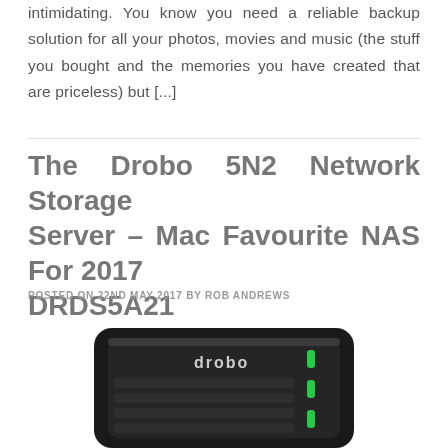intimidating. You know you need a reliable backup solution for all your photos, movies and music (the stuff you bought and the memories you have created that are priceless) but [...]
The Drobo 5N2 Network Storage Server – Mac Favourite NAS For 2017 DRDS5A21
POSTED ON 22ND MAY 2017 BY ROB ANDREWS
[Figure (photo): Photo of a Drobo 5N2 NAS device, black rectangular unit with 'drobo' branding and green LED indicator lights on the right side]